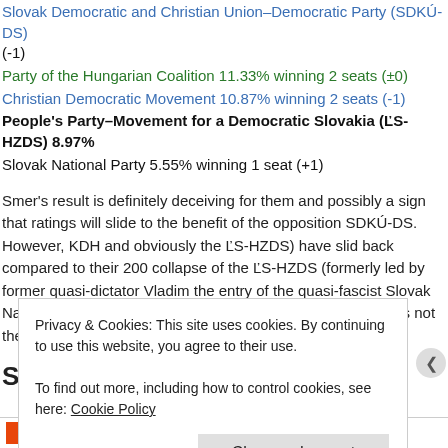Slovak Democratic and Christian Union–Democratic Party (SDKÚ-DS) (-1)
Party of the Hungarian Coalition 11.33% winning 2 seats (±0)
Christian Democratic Movement 10.87% winning 2 seats (-1)
People's Party–Movement for a Democratic Slovakia (ĽS-HZDS) 8.97%
Slovak National Party 5.55% winning 1 seat (+1)
Smer's result is definitely deceiving for them and possibly a sign that ratings will slide to the benefit of the opposition SDKÚ-DS. However, KDH and obviously the ĽS-HZDS) have slid back compared to their 200 collapse of the ĽS-HZDS (formerly led by former quasi-dictator Vladim the entry of the quasi-fascist Slovak National Party, Smer's charming c However, the SNS' 5.6% is not the 10% it used to poll and hopefully th
Slovenia
Privacy & Cookies: This site uses cookies. By continuing to use this website, you agree to their use.
To find out more, including how to control cookies, see here: Cookie Policy
Close and accept